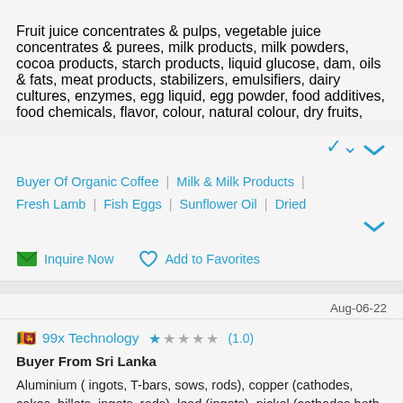Fruit juice concentrates & pulps, vegetable juice concentrates & purees, milk products, milk powders, cocoa products, starch products, liquid glucose, dam, oils & fats, meat products, stabilizers, emulsifiers, dairy cultures, enzymes, egg liquid, egg powder, food additives, food chemicals, flavor, colour, natural colour, dry fruits,
Buyer Of Organic Coffee | Milk & Milk Products | Fresh Lamb | Fish Eggs | Sunflower Oil | Dried
Inquire Now   Add to Favorites
Aug-06-22
99x Technology ★ (1.0)
Buyer From Sri Lanka
Aluminium ( ingots, T-bars, sows, rods), copper (cathodes, cakes, billets, ingots, rods), lead (ingots), nickel (cathodes both cut and uncut briquettes, pellets, discs, etc.), tin